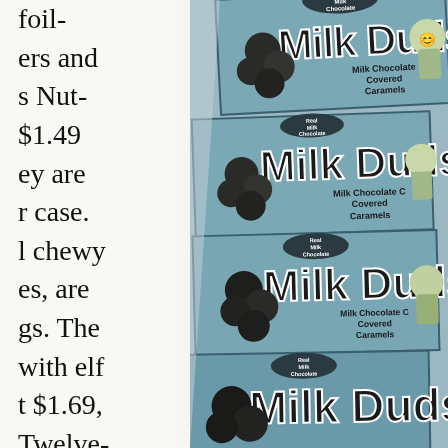foil- ers and s Nut- $1.49 ey are r case. l chewy es, are gs. The with elf t $1.69, Twelve-
[Figure (photo): Black and white / blue-tinted photograph of multiple stacked Milk Duds candy boxes. Each box reads 'Milk Duds' in large bold letters with 'Real Milk Chocolate' and 'Milk Chocolate Covered Caramels' text. Four boxes are visible stacked vertically, each showing cartoon elf-like character on the right side.]